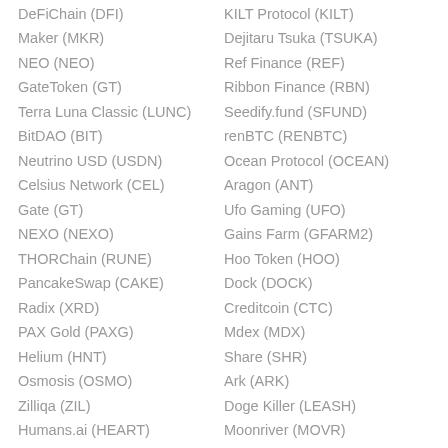DeFiChain (DFI)
KILT Protocol (KILT)
Maker (MKR)
Dejitaru Tsuka (TSUKA)
NEO (NEO)
Ref Finance (REF)
GateToken (GT)
Ribbon Finance (RBN)
Terra Luna Classic (LUNC)
Seedify.fund (SFUND)
BitDAO (BIT)
renBTC (RENBTC)
Neutrino USD (USDN)
Ocean Protocol (OCEAN)
Celsius Network (CEL)
Aragon (ANT)
Gate (GT)
Ufo Gaming (UFO)
NEXO (NEXO)
Gains Farm (GFARM2)
THORChain (RUNE)
Hoo Token (HOO)
PancakeSwap (CAKE)
Dock (DOCK)
Radix (XRD)
Creditcoin (CTC)
PAX Gold (PAXG)
Mdex (MDX)
Helium (HNT)
Share (SHR)
Osmosis (OSMO)
Ark (ARK)
Zilliqa (ZIL)
Doge Killer (LEASH)
Humans.ai (HEART)
Moonriver (MOVR)
Synthetix Network Tok…
ChainX (PCX)